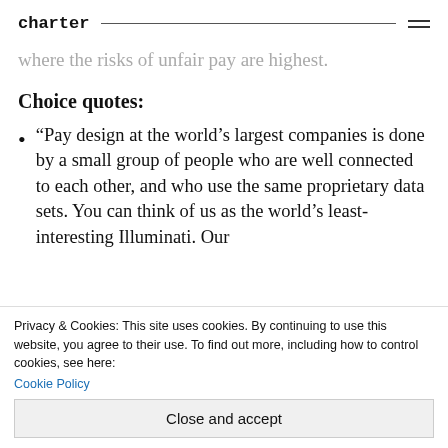charter
where the risks of unfair pay are highest.
Choice quotes:
“Pay design at the world’s largest companies is done by a small group of people who are well connected to each other, and who use the same proprietary data sets. You can think of us as the world’s least-interesting Illuminati. Our
Privacy & Cookies: This site uses cookies. By continuing to use this website, you agree to their use. To find out more, including how to control cookies, see here: Cookie Policy
Close and accept